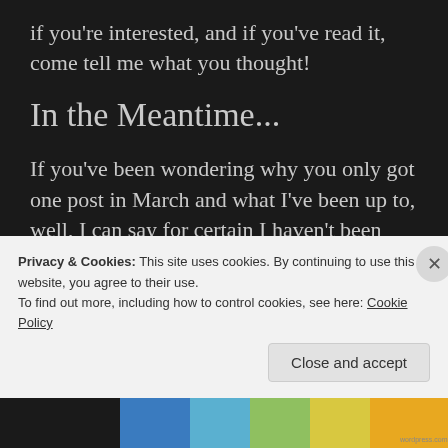if you're interested, and if you've read it, come tell me what you thought!
In the Meantime...
If you've been wondering why you only got one post in March and what I've been up to, well, I can say for certain I haven't been lazing about. No, I've been writing three short stories,
Privacy & Cookies: This site uses cookies. By continuing to use this website, you agree to their use.
To find out more, including how to control cookies, see here: Cookie Policy
Close and accept